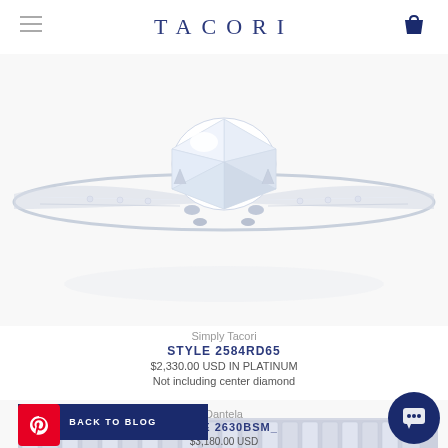TACORI
[Figure (photo): Close-up of a diamond solitaire engagement ring in platinum with round brilliant center stone and pavé band shoulders, photographed from front angle on white background]
Simply Tacori
STYLE 2584RD65
$2,330.00 USD IN PLATINUM
Not including center diamond
[Figure (photo): Side view of a diamond eternity/wedding band in platinum with channel-set round brilliant diamonds, photographed on white background]
Dantela
STYLE 2630BSM_
$3,180.00 USD